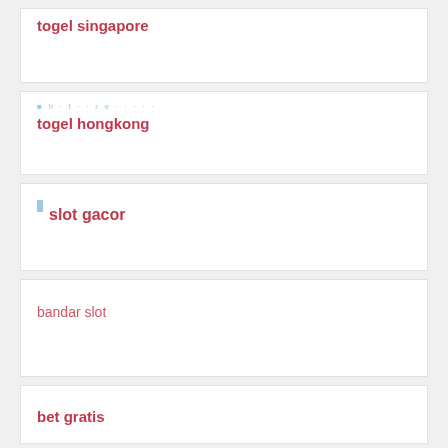togel singapore
togel hongkong
slot gacor
bandar slot
bet gratis